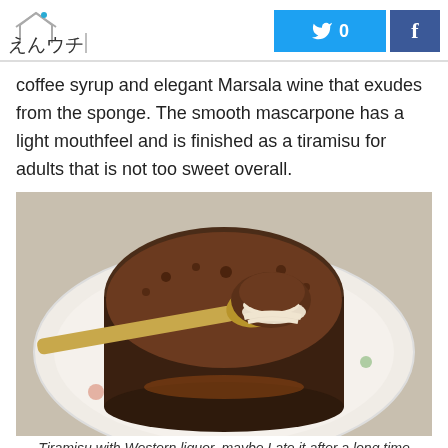えんウチ | Twitter 0 | Facebook
coffee syrup and elegant Marsala wine that exudes from the sponge. The smooth mascarpone has a light mouthfeel and is finished as a tiramisu for adults that is not too sweet overall.
[Figure (photo): A tiramisu dessert in a plastic cup on a decorative plate, being scooped with a gold spoon, showing layers of mascarpone cream and cocoa powder on top.]
Tiramisu with Western liquor, maybe I ate it after a long time